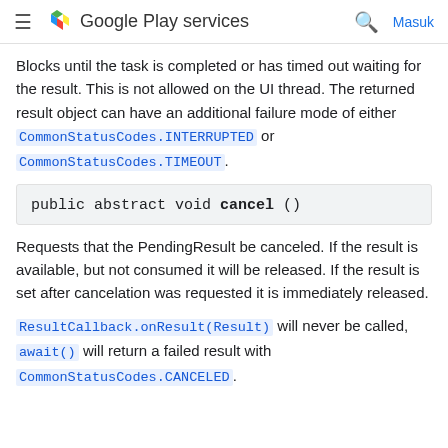Google Play services  Masuk
Blocks until the task is completed or has timed out waiting for the result. This is not allowed on the UI thread. The returned result object can have an additional failure mode of either CommonStatusCodes.INTERRUPTED or CommonStatusCodes.TIMEOUT.
public abstract void cancel ()
Requests that the PendingResult be canceled. If the result is available, but not consumed it will be released. If the result is set after cancelation was requested it is immediately released.
ResultCallback.onResult(Result) will never be called, await() will return a failed result with CommonStatusCodes.CANCELED.